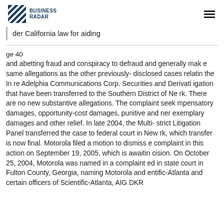BUSINESS RADAR
der California law for aiding
ge 40
and abetting fraud and conspiracy to defraud and generally mak e same allegations as the other previously- disclosed cases relatin the In re Adelphia Communications Corp. Securities and Derivati igation that have been transferred to the Southern District of Ne rk. There are no new substantive allegations. The complaint seek mpensatory damages, opportunity-cost damages, punitive and ner exemplary damages and other relief. In late 2004, the Multi- strict Litigation Panel transferred the case to federal court in New rk, which transfer is now final. Motorola filed a motion to dismiss e complaint in this action on September 19, 2005, which is awaitin cision. On October 25, 2004, Motorola was named in a complaint ed in state court in Fulton County, Georgia, naming Motorola and entific-Atlanta and certain officers of Scientific-Atlanta, AIG DKR